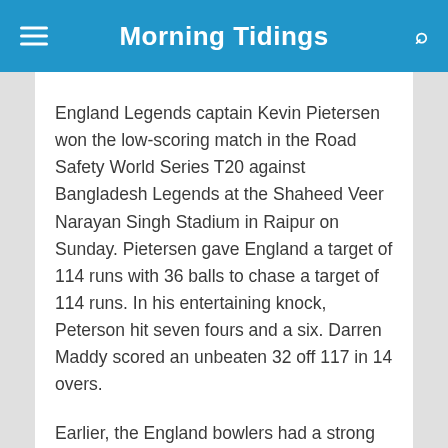Morning Tidings
England Legends captain Kevin Pietersen won the low-scoring match in the Road Safety World Series T20 against Bangladesh Legends at the Shaheed Veer Narayan Singh Stadium in Raipur on Sunday. Pietersen gave England a target of 114 runs with 36 balls to chase a target of 114 runs. In his entertaining knock, Peterson hit seven fours and a six. Darren Maddy scored an unbeaten 32 off 117 in 14 overs.
Earlier, the England bowlers had a strong performance as they restricted Bangladesh to a low score of 113 for five in 20 overs. Captain Kevin Pietersen, who won the toss and was fielded, used seven bowlers to keep the opponents under